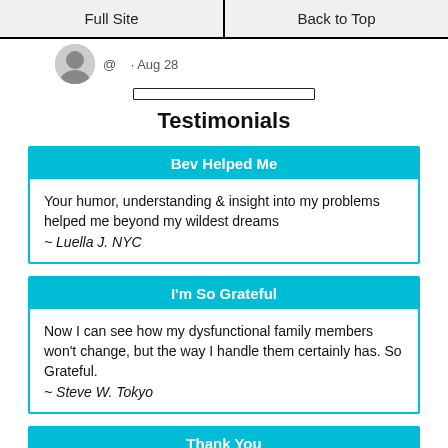Full Site | Back to Top
[Figure (screenshot): Partial tweet row showing avatar photo and text '@ · Aug 28' with a progress bar below]
Testimonials
Bev Helped Me
Your humor, understanding & insight into my problems helped me beyond my wildest dreams
~ Luella J. NYC
I'm So Grateful
Now I can see how my dysfunctional family members won't change, but the way I handle them certainly has. So Grateful.
~ Steve W. Tokyo
Thank You
Thank you for being there, for guiding us in the right direction and helping us do better.